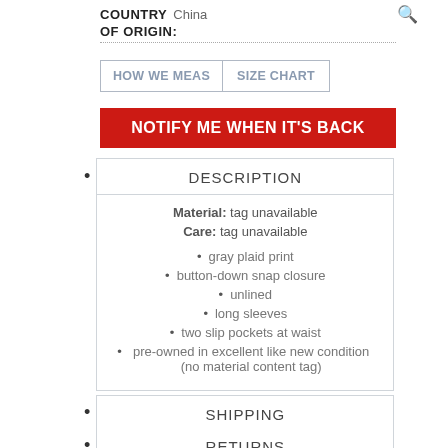COUNTRY OF ORIGIN: China
[Figure (other): Search/magnifier icon in red]
[Figure (other): HOW WE MEASURE button tab]
[Figure (other): SIZE CHART button tab]
NOTIFY ME WHEN IT'S BACK
DESCRIPTION
Material: tag unavailable
Care: tag unavailable
gray plaid print
button-down snap closure
unlined
long sleeves
two slip pockets at waist
pre-owned in excellent like new condition (no material content tag)
SHIPPING
RETURNS